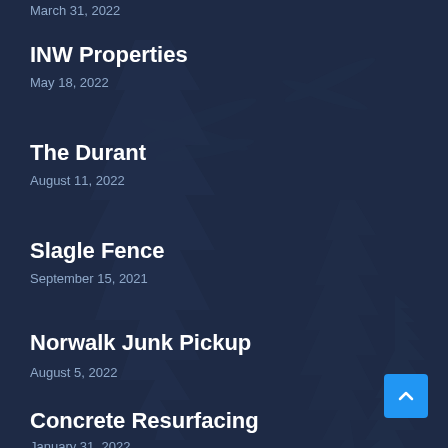March 31, 2022
INW Properties
May 18, 2022
The Durant
August 11, 2022
Slagle Fence
September 15, 2021
Norwalk Junk Pickup
August 5, 2022
Concrete Resurfacing
January 31, 2022